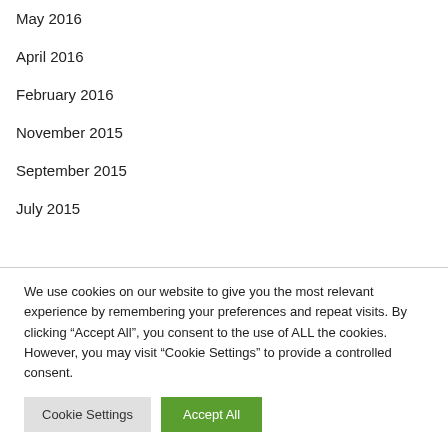May 2016
April 2016
February 2016
November 2015
September 2015
July 2015
We use cookies on our website to give you the most relevant experience by remembering your preferences and repeat visits. By clicking “Accept All”, you consent to the use of ALL the cookies. However, you may visit “Cookie Settings” to provide a controlled consent.